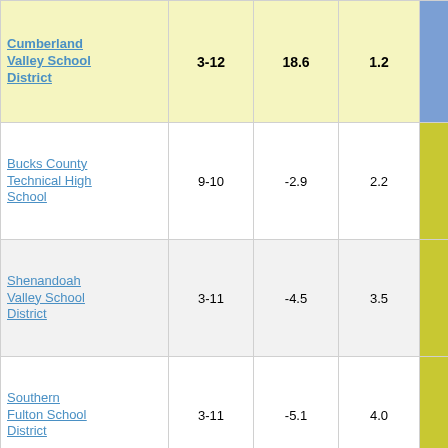| District | Grades | Col3 | Col4 | Col5 |
| --- | --- | --- | --- | --- |
| Cumberland Valley School District | 3-12 | 18.6 | 1.2 | 15.79 |
| Bucks County Technical High School | 9-10 | -2.9 | 2.2 | -1.29 |
| Shenandoah Valley School District | 3-11 | -4.5 | 3.5 | -1.29 |
| Southern Fulton School District | 3-11 | -5.1 | 4.0 | -1.29 |
| Rose Tree Media School District | 3-10 | -2.8 | 2.1 | -1.33 |
| Northeast Bradford School District | 3-10 | -5.0 | 3.7 | -1.35 |
| Dubois Area ... |  |  |  |  |